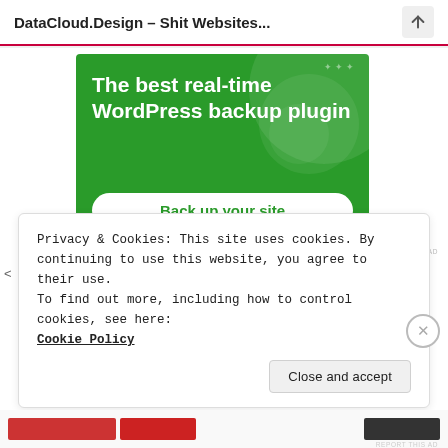DataCloud.Design – Shit Websites...
[Figure (screenshot): Green advertisement banner for WordPress backup plugin with text 'The best real-time WordPress backup plugin' and a white button 'Back up your site']
Privacy & Cookies: This site uses cookies. By continuing to use this website, you agree to their use.
To find out more, including how to control cookies, see here:
Cookie Policy
Close and accept